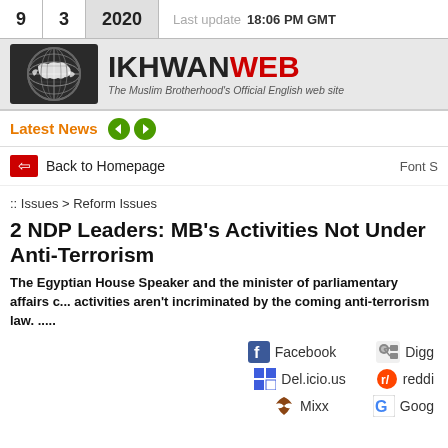9   3   2020   Last update 18:06 PM GMT
[Figure (logo): IkhwanWeb logo with globe graphic and site name IKHWANWEB in bold, tagline: The Muslim Brotherhood's Official English web site]
Latest News
Back to Homepage
Font S
:: Issues > Reform Issues
2 NDP Leaders: MB's Activities Not Under Anti-Terrorism
The Egyptian House Speaker and the minister of parliamentary affairs c... activities aren't incriminated by the coming anti-terrorism law. .....
Facebook   Digg   Del.icio.us   reddit   Mixx   Goog